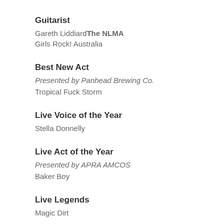Guitarist
Gareth LiddiardThe NLMA
Girls Rock! Australia
Best New Act
Presented by Panhead Brewing Co.
Tropical Fuck Storm
Live Voice of the Year
Stella Donnelly
Live Act of the Year
Presented by APRA AMCOS
Baker Boy
Live Legends
Magic Dirt